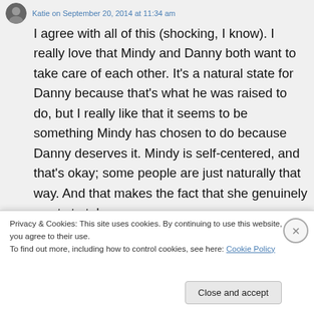Katie on September 20, 2014 at 11:34 am
I agree with all of this (shocking, I know). I really love that Mindy and Danny both want to take care of each other. It's a natural state for Danny because that's what he was raised to do, but I really like that it seems to be something Mindy has chosen to do because Danny deserves it. Mindy is self-centered, and that's okay; some people are just naturally that way. And that makes the fact that she genuinely wants to take care
Privacy & Cookies: This site uses cookies. By continuing to use this website, you agree to their use.
To find out more, including how to control cookies, see here: Cookie Policy
Close and accept